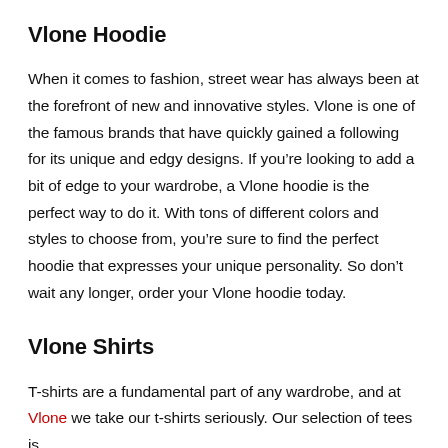Vlone Hoodie
When it comes to fashion, street wear has always been at the forefront of new and innovative styles. Vlone is one of the famous brands that have quickly gained a following for its unique and edgy designs. If you're looking to add a bit of edge to your wardrobe, a Vlone hoodie is the perfect way to do it. With tons of different colors and styles to choose from, you're sure to find the perfect hoodie that expresses your unique personality. So don't wait any longer, order your Vlone hoodie today.
Vlone Shirts
T-shirts are a fundamental part of any wardrobe, and at Vlone we take our t-shirts seriously. Our selection of tees is